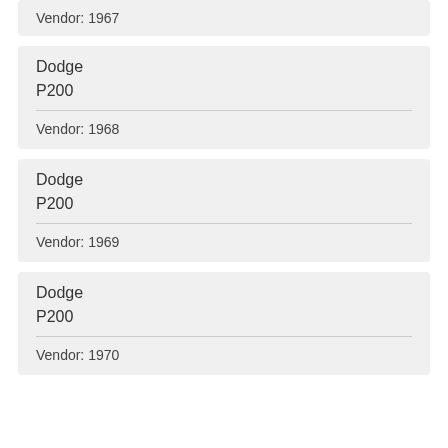Vendor: 1967
Dodge
P200
Vendor: 1968
Dodge
P200
Vendor: 1969
Dodge
P200
Vendor: 1970